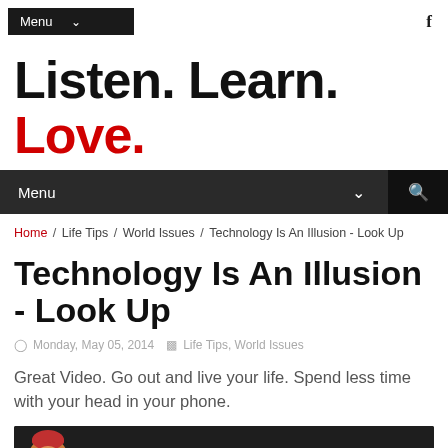Menu  f
Listen. Learn. Love.
Menu  [search]
Home / Life Tips / World Issues / Technology Is An Illusion - Look Up
Technology Is An Illusion - Look Up
Monday, May 05, 2014  Life Tips, World Issues
Great Video. Go out and live your life. Spend less time with your head in your phone.
[Figure (photo): Video thumbnail showing a person with an orange/red turban against a dark background]